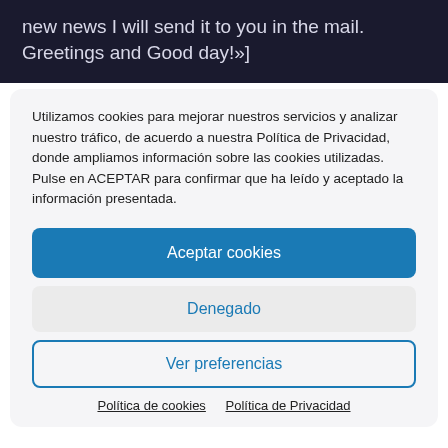new news I will send it to you in the mail. Greetings and Good day!»]
Utilizamos cookies para mejorar nuestros servicios y analizar nuestro tráfico, de acuerdo a nuestra Política de Privacidad, donde ampliamos información sobre las cookies utilizadas. Pulse en ACEPTAR para confirmar que ha leído y aceptado la información presentada.
Aceptar cookies
Denegado
Ver preferencias
Política de cookies  Política de Privacidad